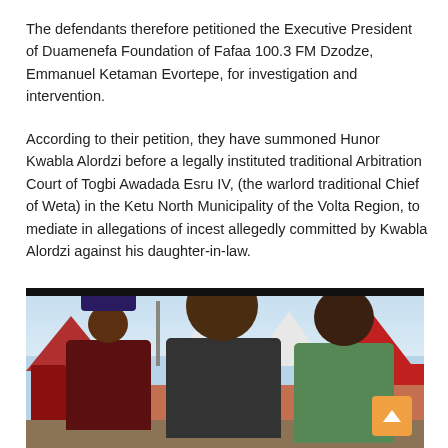The defendants therefore petitioned the Executive President of Duamenefa Foundation of Fafaa 100.3 FM Dzodze, Emmanuel Ketaman Evortepe, for investigation and intervention.
According to their petition, they have summoned Hunor Kwabla Alordzi before a legally instituted traditional Arbitration Court of Togbi Awadada Esru IV, (the warlord traditional Chief of Weta) in the Ketu North Municipality of the Volta Region, to mediate in allegations of incest allegedly committed by Kwabla Alordzi against his daughter-in-law.
[Figure (photo): Outdoor scene showing people in traditional attire in front of red and white tents with a brick wall behind them. Two main subjects visible in foreground, one wearing a dark cap and another wearing a blue head covering.]